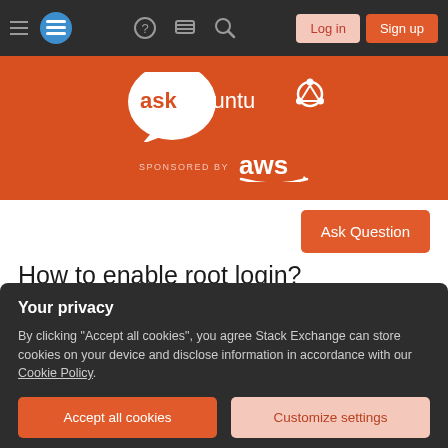[Figure (screenshot): Ask Ubuntu website navigation bar with hamburger menu, logo, icons, Log in and Sign up buttons on dark background]
[Figure (logo): Ask Ubuntu logo (speech bubble with 'ask ubuntu' text and Ubuntu circle logo) on orange background with AWS sponsorship text]
[Figure (other): Ask Question button (orange)]
How to enable root login?
Asked 11 years, 3 months ago   Modified 1 year, 10 months ago
Your privacy
By clicking "Accept all cookies", you agree Stack Exchange can store cookies on your device and disclose information in accordance with our Cookie Policy.
Accept all cookies
Customize settings